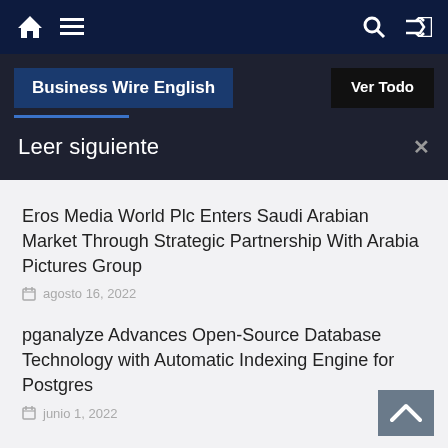Business Wire English | Ver Todo
Leer siguiente
Eros Media World Plc Enters Saudi Arabian Market Through Strategic Partnership With Arabia Pictures Group
agosto 16, 2022
pganalyze Advances Open-Source Database Technology with Automatic Indexing Engine for Postgres
junio 1, 2022